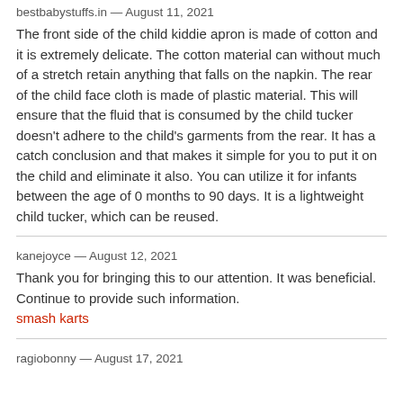bestbabystuffs.in — August 11, 2021
The front side of the child kiddie apron is made of cotton and it is extremely delicate. The cotton material can without much of a stretch retain anything that falls on the napkin. The rear of the child face cloth is made of plastic material. This will ensure that the fluid that is consumed by the child tucker doesn't adhere to the child's garments from the rear. It has a catch conclusion and that makes it simple for you to put it on the child and eliminate it also. You can utilize it for infants between the age of 0 months to 90 days. It is a lightweight child tucker, which can be reused.
kanejoyce — August 12, 2021
Thank you for bringing this to our attention. It was beneficial. Continue to provide such information.
smash karts
ragiobonny — August 17, 2021